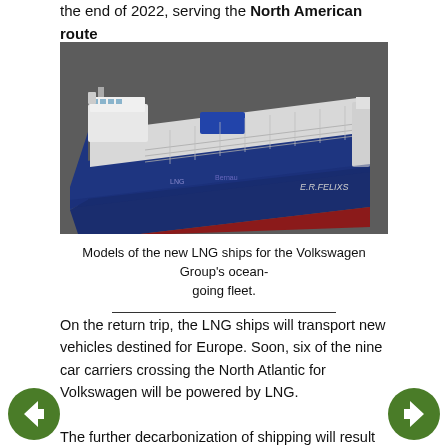the end of 2022, serving the North American route between Emden in Germany and Veracruz in Mexico.
[Figure (photo): 3D model rendering of a large LNG car carrier ship with blue hull, white superstructure, and red keel, on a dark grey background.]
Models of the new LNG ships for the Volkswagen Group's ocean-going fleet.
On the return trip, the LNG ships will transport new vehicles destined for Europe. Soon, six of the nine car carriers crossing the North Atlantic for Volkswagen will be powered by LNG.
The further decarbonization of shipping will result in substantial CO₂ reductions, with the use of liquid natural